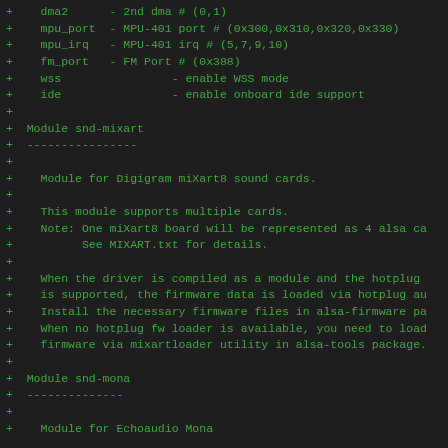+ dma2 - 2nd dma # (0,1)
+ mpu_port - MPU-401 port # (0x300,0x310,0x320,0x330)
+ mpu_irq - MPU-401 irq # (5,7,9,10)
+ fm_port - FM Port # (0x388)
+ wss - enable WSS mode
+ ide - enable onboard ide support
+
+ Module snd-mixart
+ ----------------
+
+ Module for Digigram miXart8 sound cards.
+
+ This module supports multiple cards.
+ Note: One miXart8 board will be represented as 4 alsa ca
+ See MIXART.txt for details.
+
+ When the driver is compiled as a module and the hotplug
+ is supported, the firmware data is loaded via hotplug au
+ Install the necessary firmware files in alsa-firmware pa
+ When no hotplug fw loader is available, you need to load
+ firmware via mixartloader utility in alsa-tools package.
+
+ Module snd-mona
+ --------------
+
+ Module for Echoaudio Mona